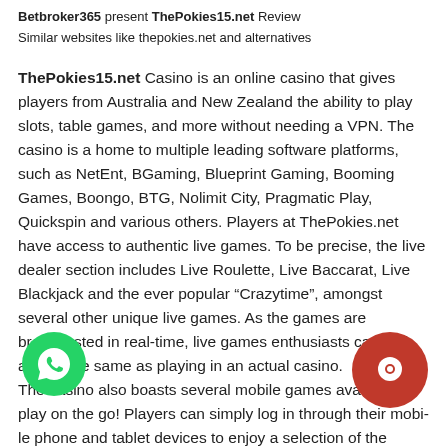Betbroker365 present ThePokies15.net Review
Similar websites like thepokies.net and alternatives
ThePokies15.net Casino is an online casino that gives players from Australia and New Zealand the ability to play slots, table games, and more without needing a VPN. The casino is a home to multiple leading software platforms, such as NetEnt, BGaming, Blueprint Gaming, Booming Games, Boongo, BTG, Nolimit City, Pragmatic Play, Quickspin and various others. Players at ThePokies.net have access to authentic live games. To be precise, the live dealer section includes Live Roulette, Live Baccarat, Live Blackjack and the ever popular "Crazytime", amongst several other unique live games. As the games are broadcasted in real-time, live games enthusiasts can feel almost the same as playing in an actual casino. The casino also boasts several mobile games available to play on the go! Players can simply log in through their mobile phone and tablet devices to enjoy a selection of the casinos most popular games. No app is required, players can